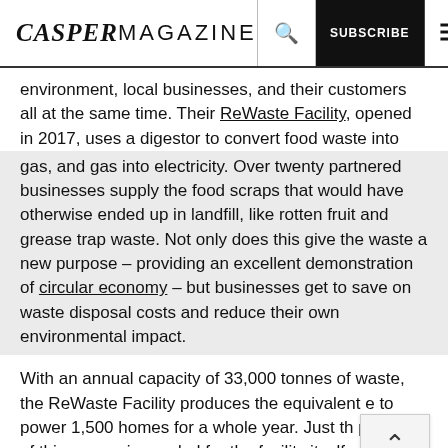CASPERMAGAZINE | Q | SUBSCRIBE | ≡
environment, local businesses, and their customers all at the same time. Their ReWaste Facility, opened in 2017, uses a digestor to convert food waste into gas, and gas into electricity. Over twenty partnered businesses supply the food scraps that would have otherwise ended up in landfill, like rotten fruit and grease trap waste. Not only does this give the waste a new purpose – providing an excellent demonstration of circular economy – but businesses get to save on waste disposal costs and reduce their own environmental impact.
With an annual capacity of 33,000 tonnes of waste, the ReWaste Facility produces the equivalent e to power 1,500 homes for a whole year. Just th percent of this energy is needed for the facility itself